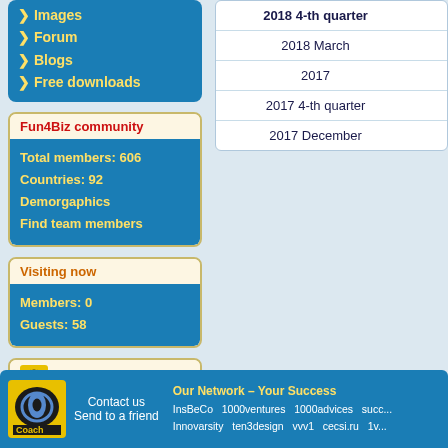Images
Forum
Blogs
Free downloads
Fun4Biz community
Total members: 606
Countries: 92
Demorgaphics
Find team members
Visiting now
Members: 0
Guests: 58
Fun4Biz e-Coach
The Tao of Achievement
Humorous Business Plans
| Period |  |
| --- | --- |
| 2018 March |  |
| 2017 |  |
| 2017 4-th quarter |  |
| 2017 December |  |
Contact us | Send to a friend | InsBeCo | 1000ventures | 1000advices | succ... | Innovarsity | ten3design | vvv1 | cecsi.ru | 1v... | Our Network – Your Success